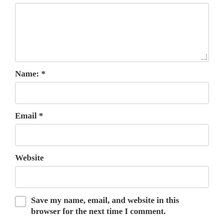[Figure (screenshot): A textarea input box with a dashed resize handle in the bottom-right corner]
Name: *
[Figure (screenshot): A text input field for Name]
Email *
[Figure (screenshot): A text input field for Email]
Website
[Figure (screenshot): A text input field for Website]
Save my name, email, and website in this browser for the next time I comment.